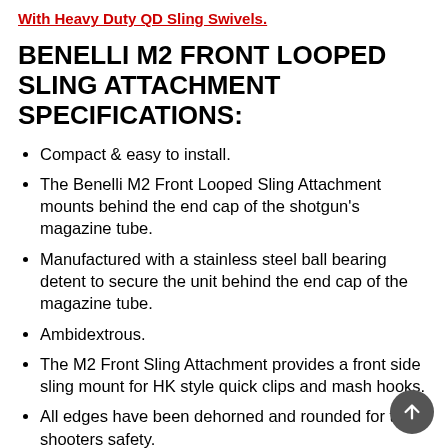With Heavy Duty QD Sling Swivels.
BENELLI M2 FRONT LOOPED SLING ATTACHMENT SPECIFICATIONS:
Compact & easy to install.
The Benelli M2 Front Looped Sling Attachment mounts behind the end cap of the shotgun's magazine tube.
Manufactured with a stainless steel ball bearing detent to secure the unit behind the end cap of the magazine tube.
Ambidextrous.
The M2 Front Sling Attachment provides a front side sling mount for HK style quick clips and mash hooks.
All edges have been dehorned and rounded for the shooters safety.